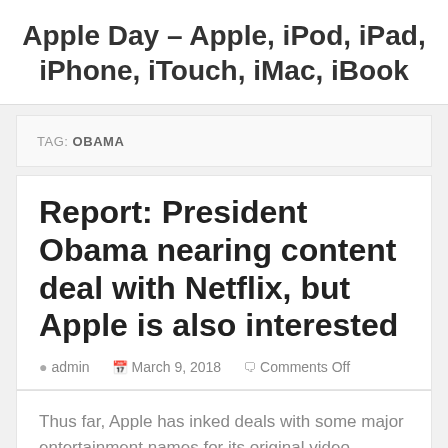Apple Day – Apple, iPod, iPad, iPhone, iTouch, iMac, iBook
TAG: OBAMA
Report: President Obama nearing content deal with Netflix, but Apple is also interested
admin   March 9, 2018   Comments Off
Thus far, Apple has inked deals with some major entertainment names for its original video platform. A